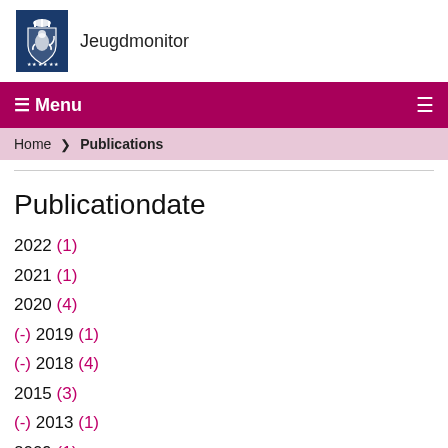[Figure (logo): Dutch government coat of arms logo on dark blue background with text 'Jeugdmonitor']
☰ Menu
Home ❯ Publications
Publicationdate
2022 (1)
2021 (1)
2020 (4)
(-) 2019 (1)
(-) 2018 (4)
2015 (3)
(-) 2013 (1)
2009 (1)